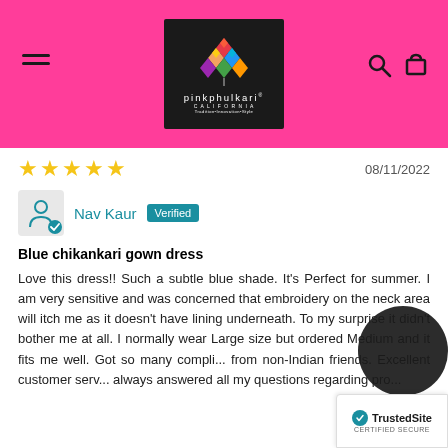[Figure (logo): PinkPhulkari California logo on black background with colorful geometric star/diamond design. Text: pinkphulkari CALIFORNIA Tradition·Innovation·Style]
★★★★★
08/11/2022
Nav Kaur  Verified
Blue chikankari gown dress
Love this dress!! Such a subtle blue shade. It's Perfect for summer. I am very sensitive and was concerned that embroidery on the neck area will itch me as it doesn't have lining underneath. To my surprise it didn't bother me at all. I normally wear Large size but ordered Medium and it fits me well. Got so many compli... from non-Indian friends. Excellent customer serv... always answered all my questions regarding pro...